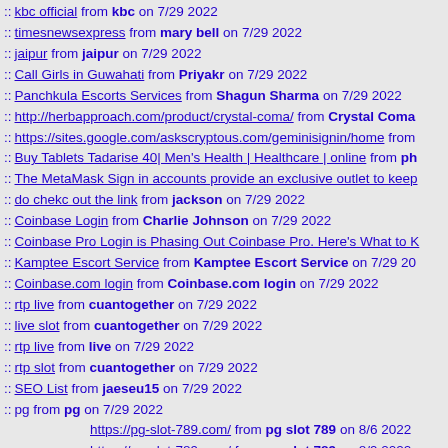:: kbc official from kbc on 7/29 2022
:: timesnewsexpress from mary bell on 7/29 2022
:: jaipur from jaipur on 7/29 2022
:: Call Girls in Guwahati from Priyakr on 7/29 2022
:: Panchkula Escorts Services from Shagun Sharma on 7/29 2022
:: http://herbapproach.com/product/crystal-coma/ from Crystal Coma
:: https://sites.google.com/askscryptous.com/geminisignin/home from
:: Buy Tablets Tadarise 40| Men's Health | Healthcare | online from ph
:: The MetaMask Sign in accounts provide an exclusive outlet to keep
:: do chekc out the link from jackson on 7/29 2022
:: Coinbase Login from Charlie Johnson on 7/29 2022
:: Coinbase Pro Login is Phasing Out Coinbase Pro. Here's What to K
:: Kamptee Escort Service from Kamptee Escort Service on 7/29 20
:: Coinbase.com login from Coinbase.com login on 7/29 2022
:: rtp live from cuantogether on 7/29 2022
:: live slot from cuantogether on 7/29 2022
:: rtp live from live on 7/29 2022
:: rtp slot from cuantogether on 7/29 2022
:: SEO List from jaeseu15 on 7/29 2022
:: pg from pg on 7/29 2022
https://pg-slot-789.com/ from pg slot 789 on 8/6 2022
https://pg-slot-789.com/ from pg slot 789 on 8/9 2022
https://pg-slot-789.com/ from pg slot 789 on 8/17 2022
:: &#3614;&#3637;&#3592;&#3637; from &#3614;&#3637;&#3592;&
:: slot pg from slot pg on 7/29 2022
:: pg from pg on 7/29 2022
:: pg &#3648;&#3623;&#3655;&#3610;&#3605;&#3619;&#3591; from
:: how to sober up quick from how to sober up quick on 7/29 2022
:: jet fuel weed from jet fuel weed on 7/29 2022
:: CACA from CACA on 7/28 2022